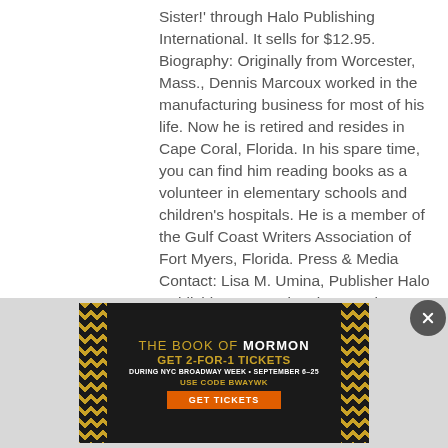Sister!' through Halo Publishing International. It sells for $12.95. Biography: Originally from Worcester, Mass., Dennis Marcoux worked in the manufacturing business for most of his life. Now he is retired and resides in Cape Coral, Florida. In his spare time, you can find him reading books as a volunteer in elementary schools and children's hospitals. He is a member of the Gulf Coast Writers Association of Fort Myers, Florida. Press & Media Contact: Lisa M. Umina, Publisher Halo Publishing International 1031 Cherry Spring Drive, AP 726 Houston, TX 77038 -
[Figure (illustration): Advertisement for 'The Book of Mormon' Broadway show. Gold starburst border on dark background. Text: THE BOOK OF MORMON. GET 2-FOR-1 TICKETS DURING NYC BROADWAY WEEK · SEPTEMBER 6-25. USE CODE BWAYWK. GET TICKETS (orange button).]